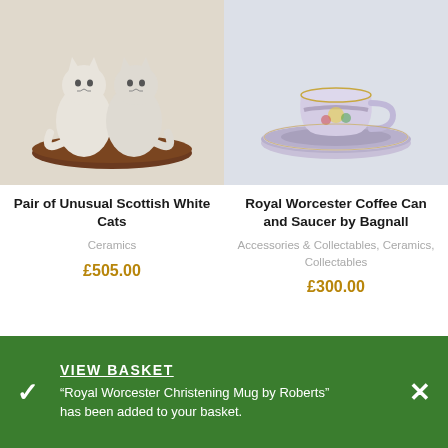[Figure (photo): Two white ceramic Scottish cat figurines sitting on a round dark wood base]
[Figure (photo): Royal Worcester coffee can and saucer with floral decoration on blue ground]
Pair of Unusual Scottish White Cats
Ceramics
£505.00
Royal Worcester Coffee Can and Saucer by Bagnall
Accessories & Collectables, Ceramics, Collectables
£300.00
VIEW BASKET
"Royal Worcester Christening Mug by Roberts" has been added to your basket.